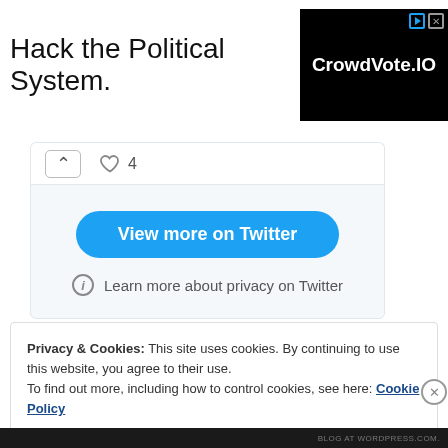[Figure (screenshot): Advertisement banner: 'Hack the Political System.' text on left, CrowdVote.IO logo on black background on right]
[Figure (screenshot): Twitter embedded widget showing upvote button, heart icon with count 4, 'View more on Twitter' blue button, and 'Learn more about privacy on Twitter' info link]
Privacy & Cookies: This site uses cookies. By continuing to use this website, you agree to their use.
To find out more, including how to control cookies, see here: Cookie Policy
Close and accept